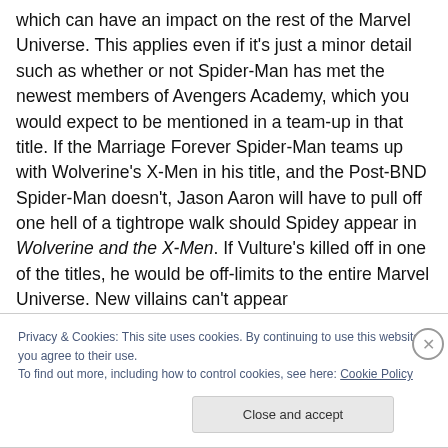which can have an impact on the rest of the Marvel Universe. This applies even if it's just a minor detail such as whether or not Spider-Man has met the newest members of Avengers Academy, which you would expect to be mentioned in a team-up in that title. If the Marriage Forever Spider-Man teams up with Wolverine's X-Men in his title, and the Post-BND Spider-Man doesn't, Jason Aaron will have to pull off one hell of a tightrope walk should Spidey appear in Wolverine and the X-Men. If Vulture's killed off in one of the titles, he would be off-limits to the entire Marvel Universe. New villains can't appear
Privacy & Cookies: This site uses cookies. By continuing to use this website, you agree to their use.
To find out more, including how to control cookies, see here: Cookie Policy